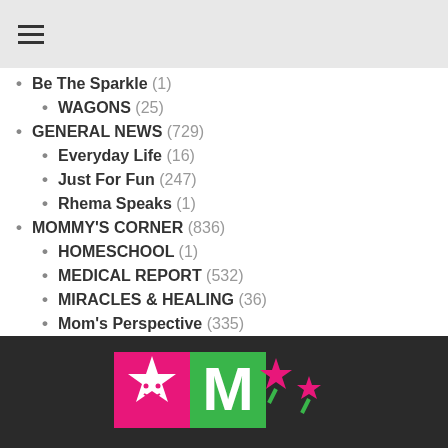☰ (hamburger menu icon)
Be The Sparkle (1)
WAGONS (25)
GENERAL NEWS (729)
Everyday Life (16)
Just For Fun (247)
Rhema Speaks (1)
MOMMY'S CORNER (836)
HOMESCHOOL (1)
MEDICAL REPORT (532)
MIRACLES & HEALING (36)
Mom's Perspective (335)
PRAYER REQUESTS (171)
Uncategorized (17)
VIDEO (54)
[Figure (logo): Blog logo with pink and green blocks featuring star shapes on dark footer bar]